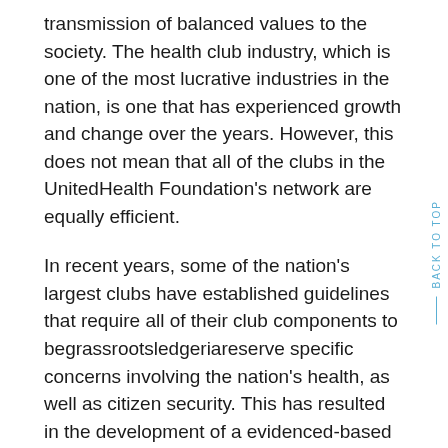transmission of balanced values to the society. The health club industry, which is one of the most lucrative industries in the nation, is one that has experienced growth and change over the years. However, this does not mean that all of the clubs in the UnitedHealth Foundation's network are equally efficient.
In recent years, some of the nation's largest clubs have established guidelines that require all of their club components to begrassrootsledgeriareserve specific concerns involving the nation's health, as well as citizen security. This has resulted in the development of a evidenced-based and socially-sensitive approach that reflects a spirit of organic communication, community empowerment, and